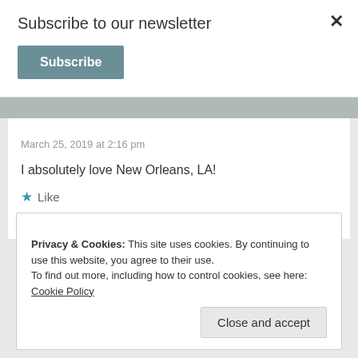Subscribe to our newsletter
Subscribe
March 25, 2019 at 2:16 pm
I absolutely love New Orleans, LA!
★ Like
Reply
Mikal says:
March 25, 2019 at 2:27 pm
Privacy & Cookies: This site uses cookies. By continuing to use this website, you agree to their use.
To find out more, including how to control cookies, see here: Cookie Policy
Close and accept